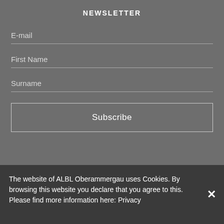NEWSLETTER
E-mail
First Name
Surname
Subscribe
The website of ALBL Oberammergau uses Cookies. By browsing this website you declare that you agree to this. Please find more information here: Privacy